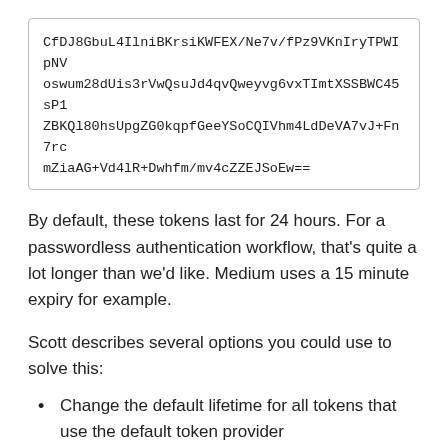[Figure (screenshot): Code box containing a long base64/token string: CfDJ8GbuL4IlniBKrsiKWFEX/Ne7v/fPz9VKnIryTPWIpNVoswum28dUis3rVwQsuJd4qvQweyvg6vxTImtXSSBWC45sP1ZBKQl80hsUpgZG0kqpfGeeYSoCQIVhm4LdDeVA7vJ+Fn7rcmZiaAG+Vd4lR+Dwhfm/mv4cZZEJSoEw==]
By default, these tokens last for 24 hours. For a passwordless authentication workflow, that's quite a lot longer than we'd like. Medium uses a 15 minute expiry for example.
Scott describes several options you could use to solve this:
Change the default lifetime for all tokens that use the default token provider
Use a different token provider, for example one of the TOTP-based providers
Create a custom data-protection base token